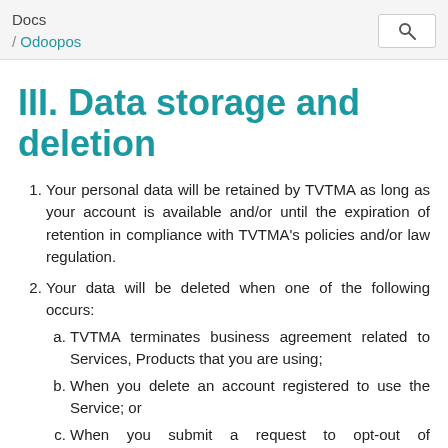Docs / Odoopos
III. Data storage and deletion
Your personal data will be retained by TVTMA as long as your account is available and/or until the expiration of retention in compliance with TVTMA's policies and/or law regulation.
Your data will be deleted when one of the following occurs:
a. TVTMA terminates business agreement related to Services, Products that you are using;
b. When you delete an account registered to use the Service; or
c. When you submit a request to opt-out of collection/use/disclosure or request deletion of